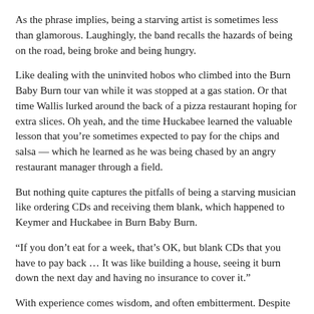As the phrase implies, being a starving artist is sometimes less than glamorous. Laughingly, the band recalls the hazards of being on the road, being broke and being hungry.
Like dealing with the uninvited hobos who climbed into the Burn Baby Burn tour van while it was stopped at a gas station. Or that time Wallis lurked around the back of a pizza restaurant hoping for extra slices. Oh yeah, and the time Huckabee learned the valuable lesson that you're sometimes expected to pay for the chips and salsa — which he learned as he was being chased by an angry restaurant manager through a field.
But nothing quite captures the pitfalls of being a starving musician like ordering CDs and receiving them blank, which happened to Keymer and Huckabee in Burn Baby Burn.
“If you don’t eat for a week, that's OK, but blank CDs that you have to pay back … It was like building a house, seeing it burn down the next day and having no insurance to cover it.”
With experience comes wisdom, and often embitterment. Despite all of the pitfalls of their past musical experiences, Teenagers seem to have an overall sunny disposition.